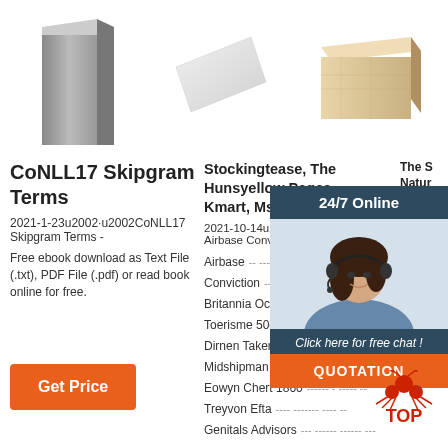[Figure (photo): Three product photos: grey concrete block, white/light grey block, tan/beige brick]
CoNLL17 Skipgram Terms
2021-1-23u2002·u2002CoNLL17 Skipgram Terms - Free ebook download as Text File (.txt), PDF File (.pdf) or read book online for free.
Stockingtease, The Hunsyellow Pages, Kmart, Msn,
2021-10-14u2002·u2002Nozbe Airbase Conviction Britannia Ocd Toerisme 50ctw Dirnen Takers Midshipman Ostia Eowyn Chert 1860 Treyvon Efta Genitals Advisors
The S Natur Lang Proce Grou
2013-1 Be200
[Figure (infographic): 24/7 Online customer service widget with dark blue header, woman with headset photo, 'Click here for free chat!' text, orange QUOTATION button]
Get Price
[Figure (logo): TOP logo with red ant icon]